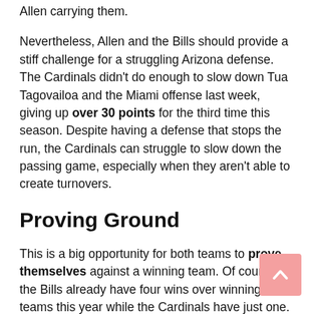Allen carrying them.
Nevertheless, Allen and the Bills should provide a stiff challenge for a struggling Arizona defense. The Cardinals didn't do enough to slow down Tua Tagovailoa and the Miami offense last week, giving up over 30 points for the third time this season. Despite having a defense that stops the run, the Cardinals can struggle to slow down the passing game, especially when they aren't able to create turnovers.
Proving Ground
This is a big opportunity for both teams to prove themselves against a winning team. Of course, the Bills already have four wins over winning teams this year while the Cardinals have just one. Buffalo is a little more reliable at this point, and with a spread that's so that close it's basically a toss-up, bet on the Bills.